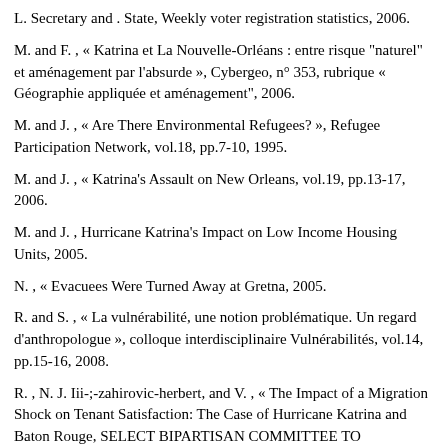L. Secretary and . State, Weekly voter registration statistics, 2006.
M. and F. , « Katrina et La Nouvelle-Orléans : entre risque "naturel" et aménagement par l'absurde », Cybergeo, n° 353, rubrique « Géographie appliquée et aménagement", 2006.
M. and J. , « Are There Environmental Refugees? », Refugee Participation Network, vol.18, pp.7-10, 1995.
M. and J. , « Katrina's Assault on New Orleans, vol.19, pp.13-17, 2006.
M. and J. , Hurricane Katrina's Impact on Low Income Housing Units, 2005.
N. , « Evacuees Were Turned Away at Gretna, 2005.
R. and S. , « La vulnérabilité, une notion problématique. Un regard d'anthropologue », colloque interdisciplinaire Vulnérabilités, vol.14, pp.15-16, 2008.
R. , N. J. Iii-;-zahirovic-herbert, and V. , « The Impact of a Migration Shock on Tenant Satisfaction: The Case of Hurricane Katrina and Baton Rouge, SELECT BIPARTISAN COMMITTEE TO INVESTIGATE THE PREPARATION FOR AND RESPONSE TO HURRICANE KATRINA, 2005 » Written Testimony by Bill...